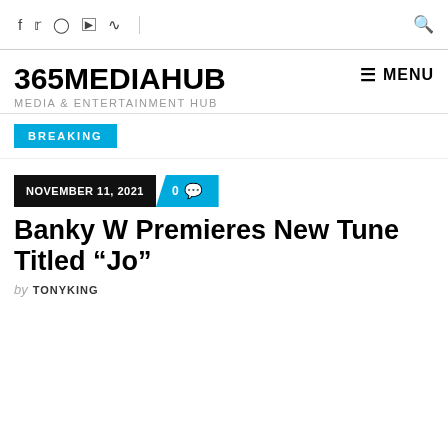f  twitter  instagram  youtube  rss  |  search
365MEDIAHUB
MEDIA & ENTERTAINMENT HUB
≡ MENU
BREAKING
NOVEMBER 11, 2021   0 comments
Banky W Premieres New Tune Titled "Jo"
by TONYKING